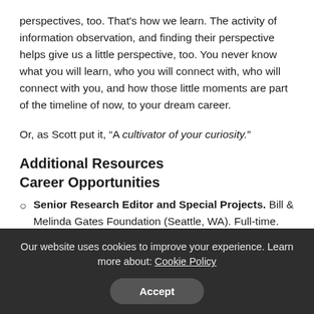perspectives, too. That's how we learn. The activity of information observation, and finding their perspective helps give us a little perspective, too. You never know what you will learn, who you will connect with, who will connect with you, and how those little moments are part of the timeline of now, to your dream career.
Or, as Scott put it, “A cultivator of your curiosity.”
Additional Resources
Career Opportunities
Senior Research Editor and Special Projects. Bill & Melinda Gates Foundation (Seattle, WA). Full-time. Apply
Our website uses cookies to improve your experience. Learn more about: Cookie Policy
Accept